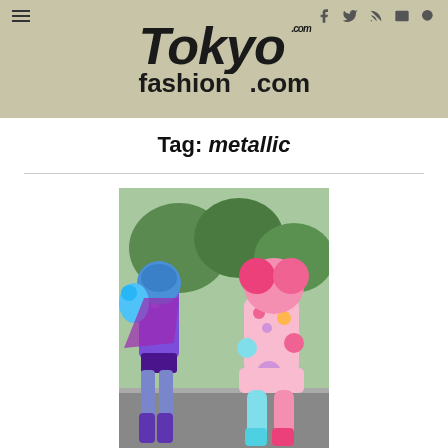TokyoFashion.com
Tag: metallic
[Figure (photo): Two people in colorful Harajuku street fashion outfits standing on a street. One wears purple and blue with sequins and stuffed animal accessories; the other wears pastel pink and blue with puffy accessories and colorful boots.]